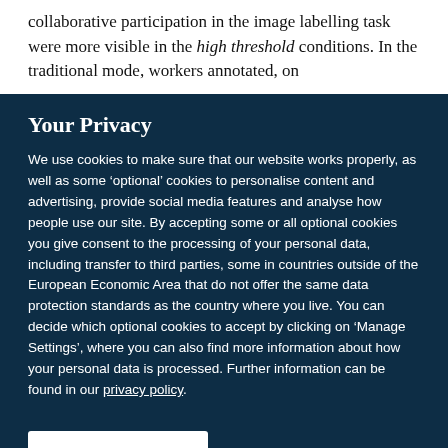collaborative participation in the image labelling task were more visible in the high threshold conditions. In the traditional mode, workers annotated, on
Your Privacy
We use cookies to make sure that our website works properly, as well as some ‘optional’ cookies to personalise content and advertising, provide social media features and analyse how people use our site. By accepting some or all optional cookies you give consent to the processing of your personal data, including transfer to third parties, some in countries outside of the European Economic Area that do not offer the same data protection standards as the country where you live. You can decide which optional cookies to accept by clicking on ‘Manage Settings’, where you can also find more information about how your personal data is processed. Further information can be found in our privacy policy.
Accept all cookies
Manage preferences